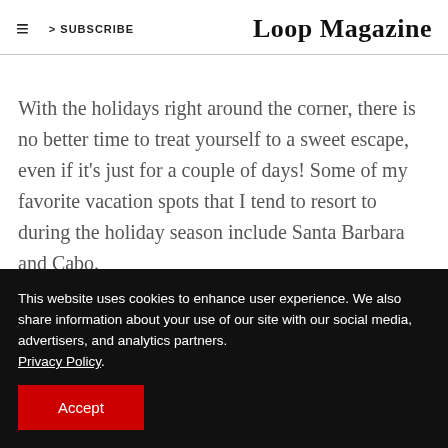Loop Magazine
With the holidays right around the corner, there is no better time to treat yourself to a sweet escape, even if it's just for a couple of days! Some of my favorite vacation spots that I tend to resort to during the holiday season include Santa Barbara and Cabo.
This website uses cookies to enhance user experience. We also share information about your use of our site with our social media, advertisers, and analytics partners. Privacy Policy. Accept